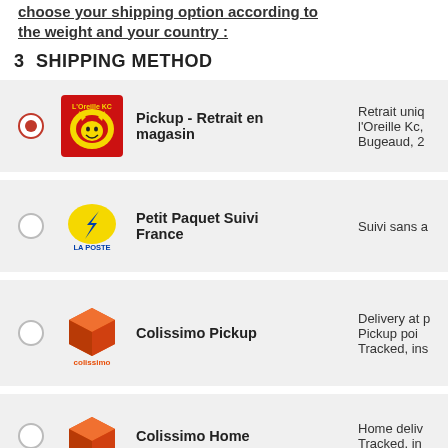choose your shipping option according to the weight and your country :
3  SHIPPING METHOD
Pickup - Retrait en magasin — Retrait uniq l'Oreille Kc, Bugeaud, 2
Petit Paquet Suivi France — Suivi sans a
Colissimo Pickup — Delivery at p Pickup poi Tracked, ins
Colissimo Home — Home deliv Tracked, in